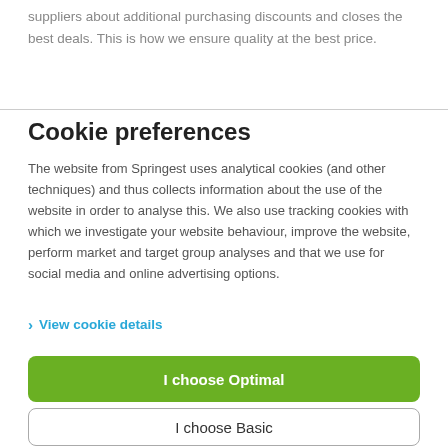suppliers about additional purchasing discounts and closes the best deals. This is how we ensure quality at the best price.
Cookie preferences
The website from Springest uses analytical cookies (and other techniques) and thus collects information about the use of the website in order to analyse this. We also use tracking cookies with which we investigate your website behaviour, improve the website, perform market and target group analyses and that we use for social media and online advertising options.
> View cookie details
I choose Optimal
I choose Basic